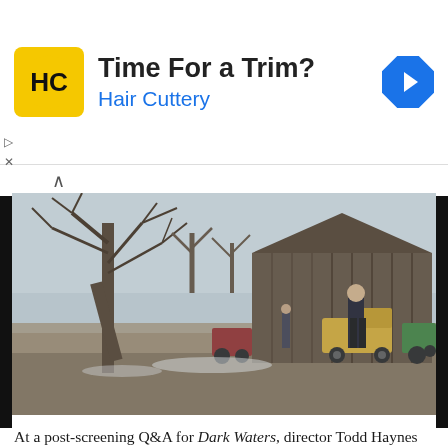[Figure (other): Hair Cuttery advertisement banner with yellow logo, 'Time For a Trim?' headline, 'Hair Cuttery' subtitle in blue, and blue navigation arrow icon on right]
[Figure (photo): Film still from Dark Waters showing a man in a dark suit standing in a rural farmyard setting with bare winter trees, a wooden barn, farm vehicles including tractors, and another figure in the background. Cold, desaturated color palette.]
At a post-screening Q&A for Dark Waters, director Todd Haynes categorized his new film as a “whistleblower movie,” referring to what is perhaps the most common type of political conspiracy thriller. Productions like All the